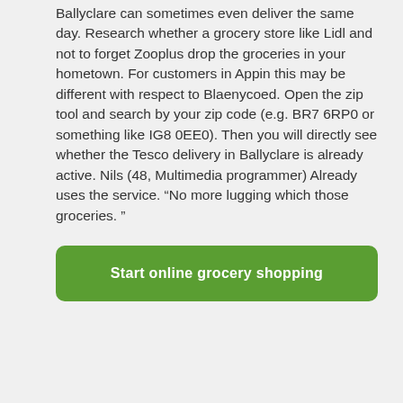Ballyclare can sometimes even deliver the same day. Research whether a grocery store like Lidl and not to forget Zooplus drop the groceries in your hometown. For customers in Appin this may be different with respect to Blaenycoed. Open the zip tool and search by your zip code (e.g. BR7 6RP0 or something like IG8 0EE0). Then you will directly see whether the Tesco delivery in Ballyclare is already active. Nils (48, Multimedia programmer) Already uses the service. “No more lugging which those groceries. ”
Start online grocery shopping